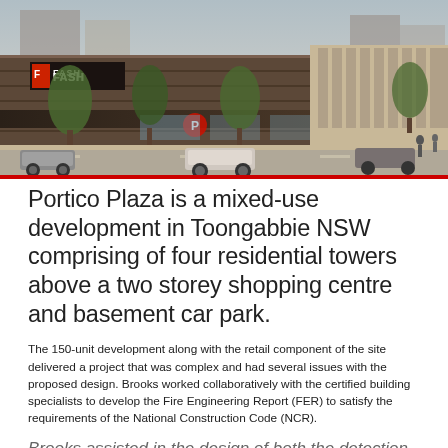[Figure (photo): Architectural rendering of Portico Plaza in Toongabbie NSW showing a mixed-use retail and residential development with a Fashion store sign visible, trees along the streetscape, and cars in the foreground]
Portico Plaza is a mixed-use development in Toongabbie NSW comprising of four residential towers above a two storey shopping centre and basement car park.
The 150-unit development along with the retail component of the site delivered a project that was complex and had several issues with the proposed design. Brooks worked collaboratively with the certified building specialists to develop the Fire Engineering Report (FER) to satisfy the requirements of the National Construction Code (NCR).
Brooks assisted in the design of both the detection system and the Emergency Warning & Evacuation system to conform to the